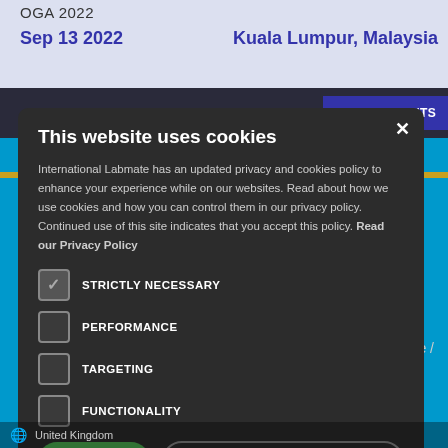OGA 2022
Sep 13 2022   Kuala Lumpur, Malaysia
EW ALL EVENTS
Advertise /
This website uses cookies
International Labmate has an updated privacy and cookies policy to enhance your experience while on our websites. Read about how we use cookies and how you can control them in our privacy policy. Continued use of this site indicates that you accept this policy. Read our Privacy Policy
STRICTLY NECESSARY
PERFORMANCE
TARGETING
FUNCTIONALITY
I AGREE
DECLINE ALL
United Kingdom